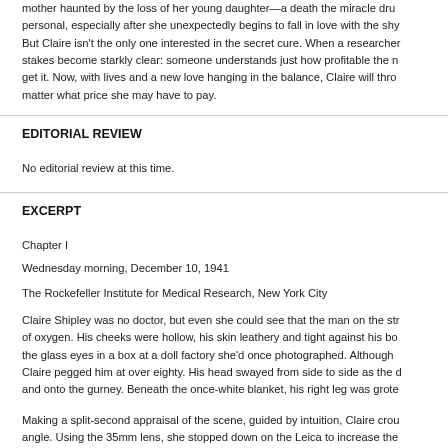mother haunted by the loss of her young daughter—a death the miracle dru personal, especially after she unexpectedly begins to fall in love with the shy But Claire isn't the only one interested in the secret cure. When a researcher stakes become starkly clear: someone understands just how profitable the n get it. Now, with lives and a new love hanging in the balance, Claire will thro matter what price she may have to pay.
EDITORIAL REVIEW
No editorial review at this time.
EXCERPT
Chapter I
Wednesday morning, December 10, 1941
The Rockefeller Institute for Medical Research, New York City
Claire Shipley was no doctor, but even she could see that the man on the str of oxygen. His cheeks were hollow, his skin leathery and tight against his bo the glass eyes in a box at a doll factory she'd once photographed. Although Claire pegged him at over eighty. His head swayed from side to side as the d and onto the gurney. Beneath the once-white blanket, his right leg was grote
Making a split-second appraisal of the scene, guided by intuition, Claire crou angle. Using the 35mm lens, she stopped down on the Leica to increase the photos, bracketing to guarantee the exposure: the patient in profile and a h